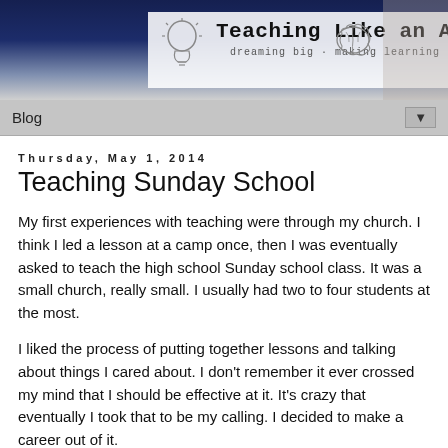[Figure (illustration): Blog header banner for 'Teaching Like an Artist' with dark blue top, white center area showing a lightbulb sketch, brain sketch, pencils, eraser, and the blog title and subtitle in handwritten/monospace font. Subtitle reads: dreaming big · making learning real]
Blog ▼
Thursday, May 1, 2014
Teaching Sunday School
My first experiences with teaching were through my church. I think I led a lesson at a camp once, then I was eventually asked to teach the high school Sunday school class. It was a small church, really small. I usually had two to four students at the most.
I liked the process of putting together lessons and talking about things I cared about. I don't remember it ever crossed my mind that I should be effective at it. It's crazy that eventually I took that to be my calling. I decided to make a career out of it.